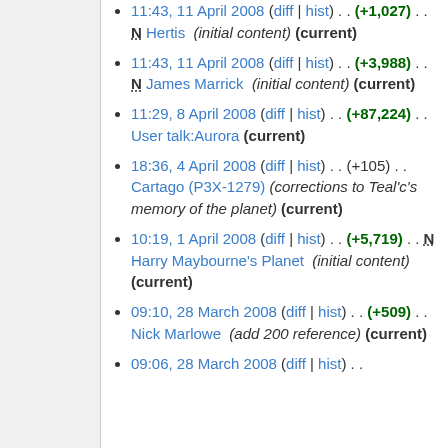11:43, 11 April 2008 (diff | hist) . . (+1,027) . . N Hertis (initial content) (current)
11:43, 11 April 2008 (diff | hist) . . (+3,988) . . N James Marrick (initial content) (current)
11:29, 8 April 2008 (diff | hist) . . (+87,224) . . User talk:Aurora (current)
18:36, 4 April 2008 (diff | hist) . . (+105) . . Cartago (P3X-1279) (corrections to Teal'c's memory of the planet) (current)
10:19, 1 April 2008 (diff | hist) . . (+5,719) . . N Harry Maybourne's Planet (initial content) (current)
09:10, 28 March 2008 (diff | hist) . . (+509) . . Nick Marlowe (add 200 reference) (current)
09:06, 28 March 2008 (diff | hist) . .